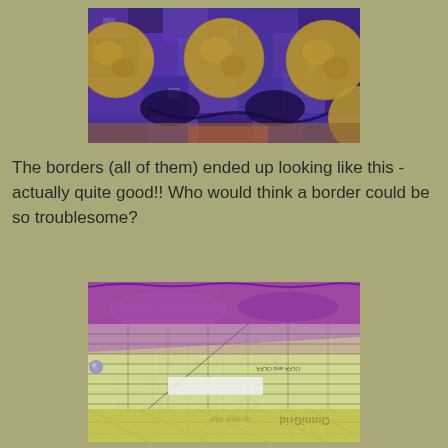[Figure (photo): A quilt with golden/yellow circular shapes on a blue-purple mosaic fabric background, photographed from above showing the border detail.]
The borders (all of them) ended up looking like this - actually quite good!! Who would think a border could be so troublesome?
[Figure (photo): A purple/violet fabric strip laid across a yellow-green cutting mat with ruler markings, with a transparent quilting ruler (OmniGrid brand) placed on top showing measurement lines. The ruler text appears mirrored/upside-down.]